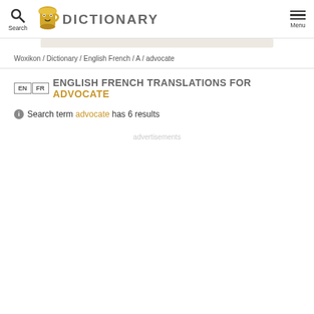Search  DICTIONARY  Menu
Woxikon / Dictionary / English French / A / advocate
EN FR ENGLISH FRENCH TRANSLATIONS FOR ADVOCATE
Search term advocate has 6 results
advertisements